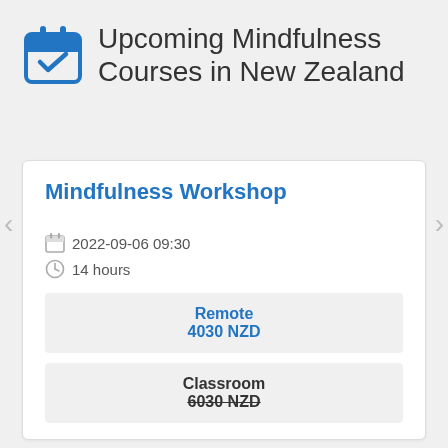Upcoming Mindfulness Courses in New Zealand
Mindfulness Workshop
2022-09-06 09:30
14 hours
Remote
4030 NZD
Classroom
6030 NZD